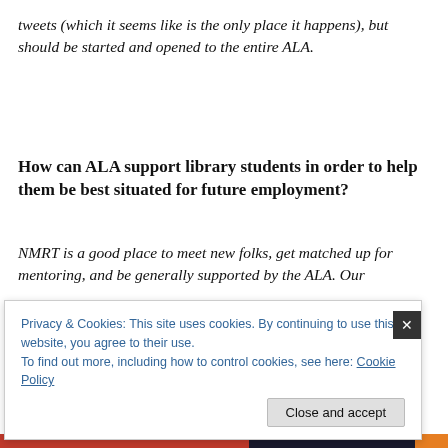tweets (which it seems like is the only place it happens), but should be started and opened to the entire ALA.
How can ALA support library students in order to help them be best situated for future employment?
NMRT is a good place to meet new folks, get matched up for mentoring, and be generally supported by the ALA. Our
Privacy & Cookies: This site uses cookies. By continuing to use this website, you agree to their use.
To find out more, including how to control cookies, see here: Cookie Policy
Close and accept